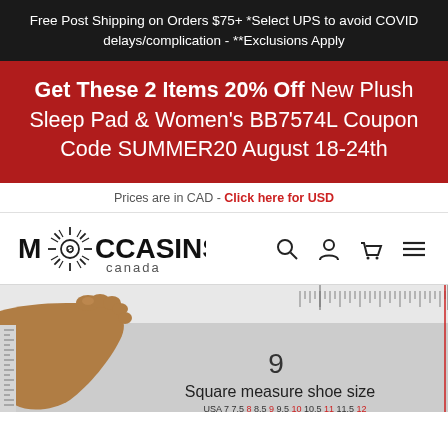Free Post Shipping on Orders $75+ *Select UPS to avoid COVID delays/complication - **Exclusions Apply
Get These 2 Items 20% Off New Plush Sleep Pad & Women's BB7574L Coupon Code SUMMER20 August 18-24th
Prices are in CAD - Click here for USD
[Figure (logo): Moccasins Canada logo with sun/compass rose symbol between M and CCASINS text, with 'canada' below]
[Figure (illustration): Shoe size measurement guide showing a bare foot (brown skin tone) next to a ruler, with number 9 and text 'Square measure shoe size', and a size chart showing USA sizes 7 through 12 at the bottom]